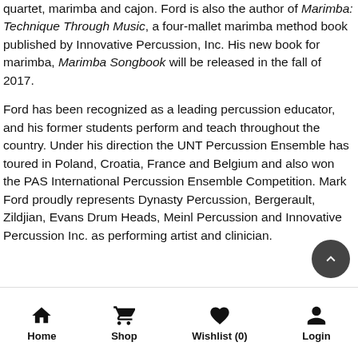quartet, marimba and cajon.  Ford is also the author of Marimba: Technique Through Music, a four-mallet marimba method book published by Innovative Percussion, Inc.   His new book for marimba, Marimba Songbook will be released in the fall of 2017.

Ford has been recognized as a leading percussion educator, and his former students perform and teach throughout the country.  Under his direction the UNT Percussion Ensemble has toured in Poland, Croatia, France and Belgium and also won the PAS International Percussion Ensemble Competition.  Mark Ford proudly represents Dynasty Percussion, Bergerault, Zildjian, Evans Drum Heads, Meinl Percussion and Innovative Percussion Inc. as performing artist and clinician.
Home  Shop  Wishlist (0)  Login